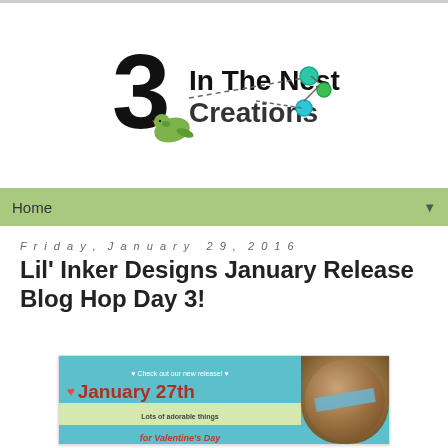[Figure (logo): 3 In The Nest Creations logo with a stylized number 3, a green bird, dashed lines connecting circular dots in teal and green]
Home
Friday, January 29, 2016
Lil' Inker Designs January Release Blog Hop Day 3!
[Figure (illustration): Lil' Inker Designs promotional banner for January 27th release featuring Valentine's Day products. Text: Check out our new release! January 27th Lots of adorable things for Valentine's Day and more! shoplilinker.blogspot.com | lilinkerdesigns.com. Right side shows a circular photo of a mason jar with Valentine's Day treats.]